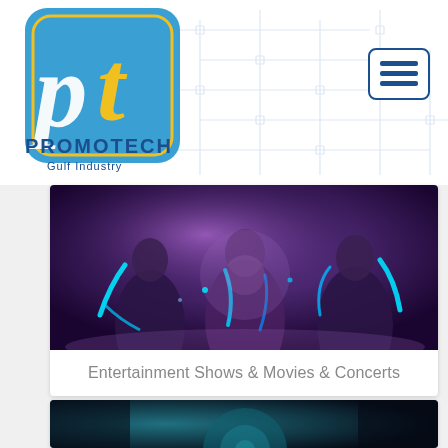[Figure (logo): Promotech Gulf Industry logo — blue rounded square with gold 'pt' letters, text PROMOTECH Gulf Industry below]
[Figure (other): Hamburger menu icon button with three horizontal lines, blue border rounded rectangle]
[Figure (photo): Entertainment show photo with performers in neon blue lighting, dark background]
Entertainment Shows & Movies & Concerts
[Figure (photo): Second entertainment/event photo partially visible at bottom of page with teal/dark tones]